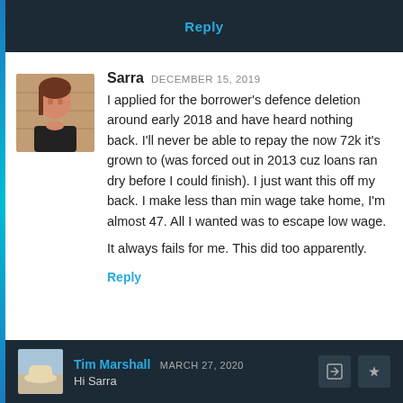Reply
Sarra DECEMBER 15, 2019
I applied for the borrower's defence deletion around early 2018 and have heard nothing back. I'll never be able to repay the now 72k it's grown to (was forced out in 2013 cuz loans ran dry before I could finish). I just want this off my back. I make less than min wage take home, I'm almost 47. All I wanted was to escape low wage.
It always fails for me. This did too apparently.
Reply
Tim Marshall MARCH 27, 2020
Hi Sarra